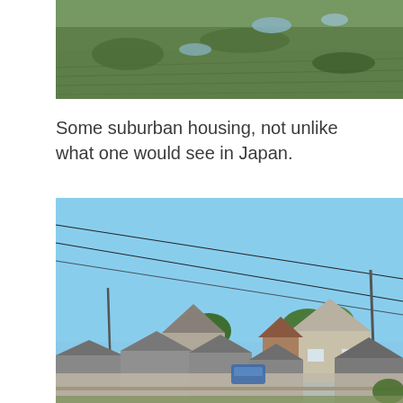[Figure (photo): Aerial or elevated view of a flat green agricultural field with patches of water or wet soil, seen from above at an angle.]
Some suburban housing, not unlike what one would see in Japan.
[Figure (photo): View of suburban housing in China from a moving vehicle or train. Blue sky with power lines crossing overhead. In the foreground are older low grey-tiled rooftops; behind them are newer two-story houses with pitched roofs and beige/white facades. Trees visible between buildings.]